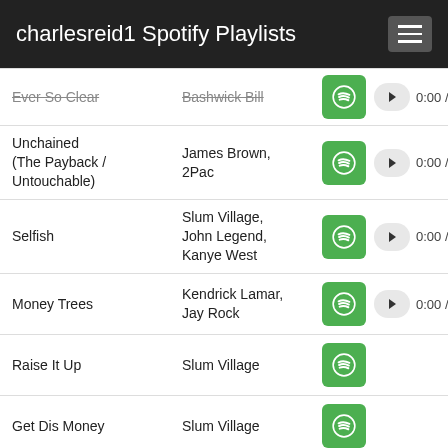charlesreid1 Spotify Playlists
Ever So Clear | Bashwick Bill | 0:00 / 0:29
Unchained (The Payback / Untouchable) | James Brown, 2Pac | 0:00 / 0:29
Selfish | Slum Village, John Legend, Kanye West | 0:00 / 0:29
Money Trees | Kendrick Lamar, Jay Rock | 0:00 / 0:29
Raise It Up | Slum Village
Get Dis Money | Slum Village
Decadence (feat. T3, | Slum Village | 0:00 / 0:29